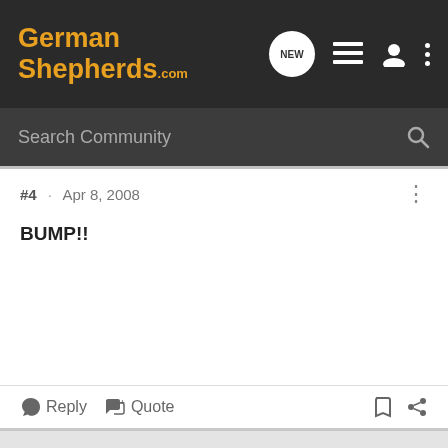GermanShepherds.com
Search Community
#4 · Apr 8, 2008
BUMP!!
Reply   Quote
CindyM · Registered
Joined Mar 20, 2007 · 4,972 Posts